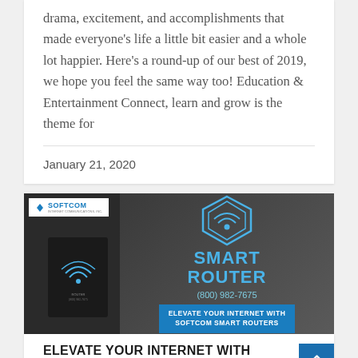drama, excitement, and accomplishments that made everyone's life a little bit easier and a whole lot happier. Here's a round-up of our best of 2019, we hope you feel the same way too! Education & Entertainment Connect, learn and grow is the theme for
January 21, 2020
[Figure (photo): Softcom Smart Router advertisement banner showing a dark-themed image with Softcom logo top left, a router device on the left side, a large blue Softcom wifi/router logo icon in the center, text 'SMART ROUTER' in blue, phone number (800) 982-7675, and a blue box saying 'ELEVATE YOUR INTERNET WITH SOFTCOM SMART ROUTERS']
ELEVATE YOUR INTERNET WITH SOFTCOM